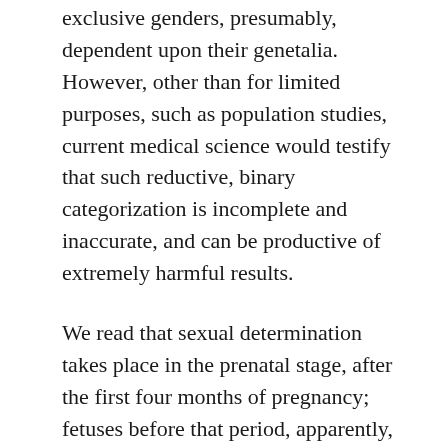exclusive genders, presumably, dependent upon their genetalia. However, other than for limited purposes, such as population studies, current medical science would testify that such reductive, binary categorization is incomplete and inaccurate, and can be productive of extremely harmful results.
We read that sexual determination takes place in the prenatal stage, after the first four months of pregnancy; fetuses before that period, apparently, lack any indication of gender, which is thereafter, hormonally determined. Societal treatment and assumptions that gender is simply binary, is medically and scientifically erroneous.  Gender has been scientifically proven to be the end product a broad spectrum, or continuum, of diverse, hormonally inherited (potential) traits. Nonetheless, continuing societal ignorance and